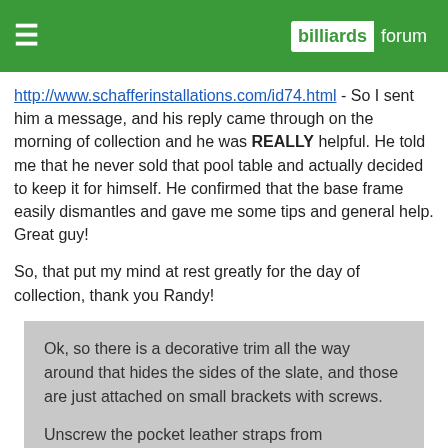billiards forum
http://www.schafferinstallations.com/id74.html - So I sent him a message, and his reply came through on the morning of collection and he was REALLY helpful. He told me that he never sold that pool table and actually decided to keep it for himself. He confirmed that the base frame easily dismantles and gave me some tips and general help. Great guy!
So, that put my mind at rest greatly for the day of collection, thank you Randy!
Ok, so there is a decorative trim all the way around that hides the sides of the slate, and those are just attached on small brackets with screws.

Unscrew the pocket leather straps from